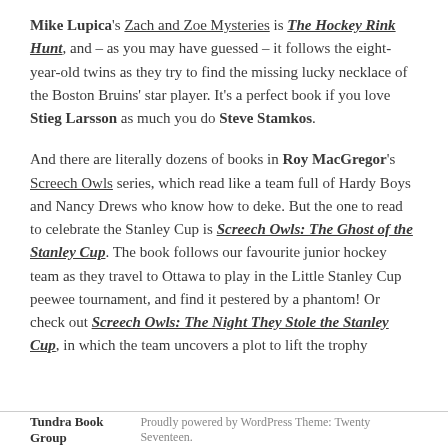Mike Lupica's Zach and Zoe Mysteries is The Hockey Rink Hunt, and – as you may have guessed – it follows the eight-year-old twins as they try to find the missing lucky necklace of the Boston Bruins' star player. It's a perfect book if you love Stieg Larsson as much you do Steve Stamkos.
And there are literally dozens of books in Roy MacGregor's Screech Owls series, which read like a team full of Hardy Boys and Nancy Drews who know how to deke. But the one to read to celebrate the Stanley Cup is Screech Owls: The Ghost of the Stanley Cup. The book follows our favourite junior hockey team as they travel to Ottawa to play in the Little Stanley Cup peewee tournament, and find it pestered by a phantom! Or check out Screech Owls: The Night They Stole the Stanley Cup, in which the team uncovers a plot to lift the trophy
Tundra Book Group    Proudly powered by WordPress Theme: Twenty Seventeen.